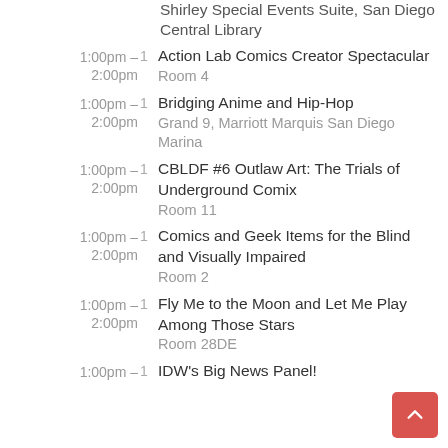Shirley Special Events Suite, San Diego Central Library
1:00pm – 2:00pm	1	Action Lab Comics Creator Spectacular
Room 4
1:00pm – 2:00pm	1	Bridging Anime and Hip-Hop
Grand 9, Marriott Marquis San Diego Marina
1:00pm – 2:00pm	1	CBLDF #6 Outlaw Art: The Trials of Underground Comix
Room 11
1:00pm – 2:00pm	1	Comics and Geek Items for the Blind and Visually Impaired
Room 2
1:00pm – 2:00pm	1	Fly Me to the Moon and Let Me Play Among Those Stars
Room 28DE
1:00pm –	1	IDW's Big News Panel!